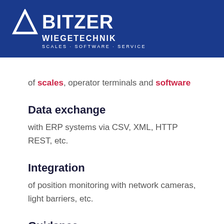[Figure (logo): BITZER Wiegetechnik logo on dark blue background with triangle icon and tagline SCALES · SOFTWARE · SERVICE]
of scales, operator terminals and software
Data exchange
with ERP systems via CSV, XML, HTTP REST, etc.
Integration
of position monitoring with network cameras, light barriers, etc.
Guidance